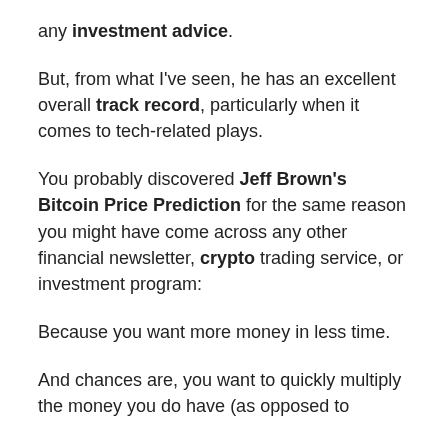any investment advice.
But, from what I've seen, he has an excellent overall track record, particularly when it comes to tech-related plays.
You probably discovered Jeff Brown's Bitcoin Price Prediction for the same reason you might have come across any other financial newsletter, crypto trading service, or investment program:
Because you want more money in less time.
And chances are, you want to quickly multiply the money you do have (as opposed to